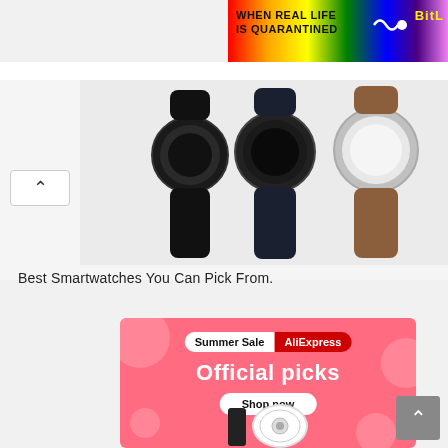[Figure (screenshot): Top-right banner ad: rainbow background with text 'WHEN REAL LIFE IS QUARANTINED' and 'BitL' logo in yellow]
[Figure (photo): Three smartwatches displayed side by side — two with black bands and one with a brown leather band, on a light grey background]
Best Smartwatches You Can Pick From.
[Figure (screenshot): AliExpress Summer Sale advertisement on pink/coral background. Shows 'Summer Sale AliExpress' badge, 'Official picks' heading, 'Shop now' button, and product images including a robot vacuum and a phone at the bottom.]
[Figure (screenshot): Grey scroll-to-top button with up arrow in the bottom right corner]